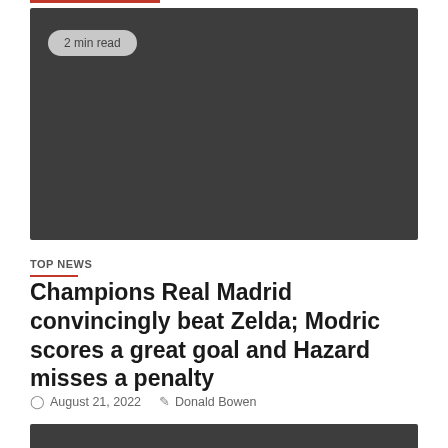[Figure (photo): Dark gray placeholder image with '2 min read' badge in top-left corner]
TOP NEWS
Champions Real Madrid convincingly beat Zelda; Modric scores a great goal and Hazard misses a penalty
August 21, 2022   Donald Bowen
[Figure (photo): Dark gray placeholder image (partial, bottom of page)]